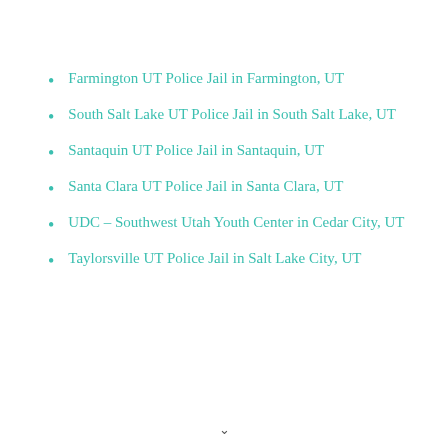Farmington UT Police Jail in Farmington, UT
South Salt Lake UT Police Jail in South Salt Lake, UT
Santaquin UT Police Jail in Santaquin, UT
Santa Clara UT Police Jail in Santa Clara, UT
UDC – Southwest Utah Youth Center in Cedar City, UT
Taylorsville UT Police Jail in Salt Lake City, UT